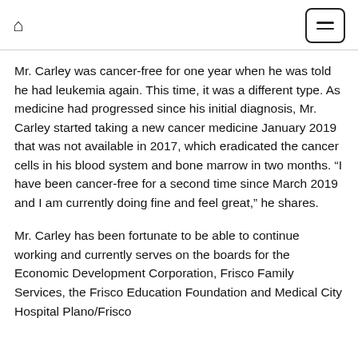Home / Menu
Mr. Carley was cancer-free for one year when he was told he had leukemia again. This time, it was a different type. As medicine had progressed since his initial diagnosis, Mr. Carley started taking a new cancer medicine January 2019 that was not available in 2017, which eradicated the cancer cells in his blood system and bone marrow in two months. “I have been cancer-free for a second time since March 2019 and I am currently doing fine and feel great,” he shares.
Mr. Carley has been fortunate to be able to continue working and currently serves on the boards for the Economic Development Corporation, Frisco Family Services, the Frisco Education Foundation and Medical City Hospital Plano/Frisco...